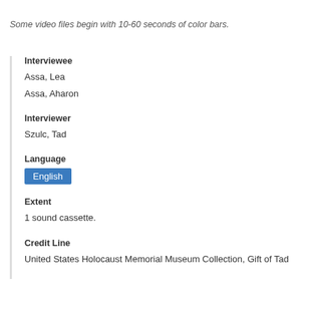Some video files begin with 10-60 seconds of color bars.
Interviewee
Assa, Lea
Assa, Aharon
Interviewer
Szulc, Tad
Language
English
Extent
1 sound cassette.
Credit Line
United States Holocaust Memorial Museum Collection, Gift of Tad